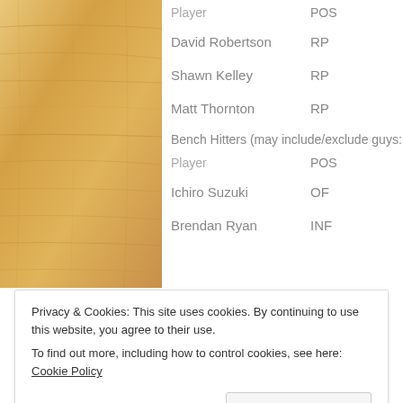[Figure (photo): Wood texture panel on the left side of the page]
| Player | POS |
| --- | --- |
| David Robertson | RP |
| Shawn Kelley | RP |
| Matt Thornton | RP |
Bench Hitters (may include/exclude guys:
| Player | POS |
| --- | --- |
| Ichiro Suzuki | OF |
| Brendan Ryan | INF |
Privacy & Cookies: This site uses cookies. By continuing to use this website, you agree to their use.
To find out more, including how to control cookies, see here: Cookie Policy
Close and accept